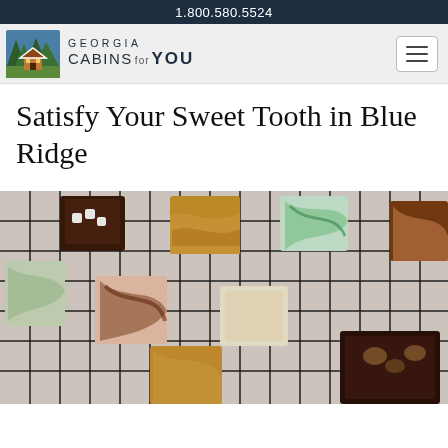1.800.580.5524
[Figure (logo): Georgia Cabins for You logo with pine trees and cabin illustration, navigation bar with hamburger menu]
Satisfy Your Sweet Tooth in Blue Ridge
[Figure (photo): Assorted pieces of fudge in various flavors including chocolate, peanut butter, mint swirl, and vanilla on a wire cooling rack]